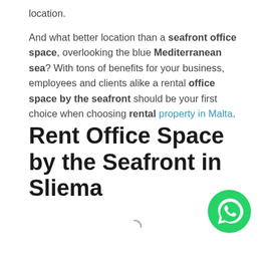location.
And what better location than a seafront office space, overlooking the blue Mediterranean sea? With tons of benefits for your business, employees and clients alike a rental office space by the seafront should be your first choice when choosing rental property in Malta.
Rent Office Space by the Seafront in Sliema
[Figure (other): WhatsApp contact button (green circle with WhatsApp logo)]
[Figure (other): Loading spinner indicator]